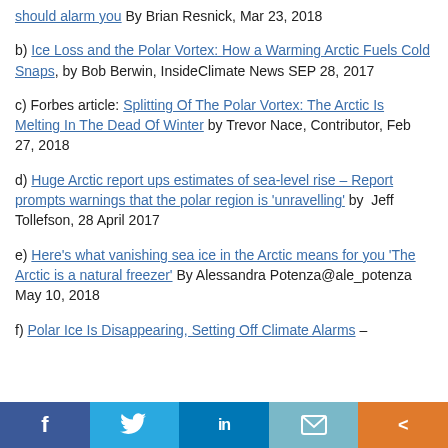should alarm you By Brian Resnick, Mar 23, 2018
b) Ice Loss and the Polar Vortex: How a Warming Arctic Fuels Cold Snaps, by Bob Berwin, InsideClimate News SEP 28, 2017
c) Forbes article: Splitting Of The Polar Vortex: The Arctic Is Melting In The Dead Of Winter by Trevor Nace, Contributor, Feb 27, 2018
d) Huge Arctic report ups estimates of sea-level rise – Report prompts warnings that the polar region is 'unravelling' by Jeff Tollefson, 28 April 2017
e) Here's what vanishing sea ice in the Arctic means for you 'The Arctic is a natural freezer' By Alessandra Potenza@ale_potenza May 10, 2018
f) Polar Ice Is Disappearing, Setting Off Climate Alarms –
Facebook Twitter LinkedIn Email Share